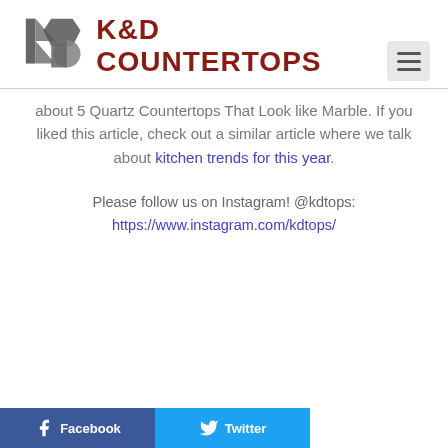[Figure (logo): K&D Countertops logo with geometric K and D shapes in gray and dark red text]
about 5 Quartz Countertops That Look like Marble. If you liked this article, check out a similar article where we talk about kitchen trends for this year.
Please follow us on Instagram! @kdtops: https://www.instagram.com/kdtops/
[Figure (other): Social share buttons: Facebook (blue) and Twitter (light blue) at the bottom of the page]